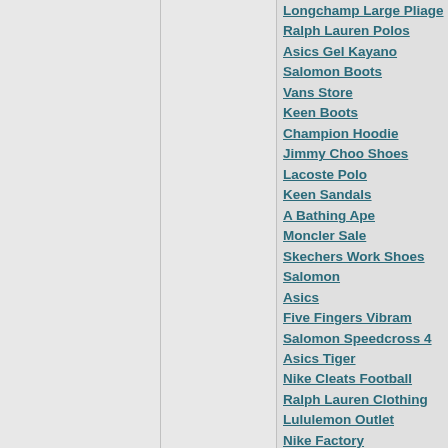Longchamp Large Pliage
Ralph Lauren Polos
Asics Gel Kayano
Salomon Boots
Vans Store
Keen Boots
Champion Hoodie
Jimmy Choo Shoes
Lacoste Polo
Keen Sandals
A Bathing Ape
Moncler Sale
Skechers Work Shoes
Salomon
Asics
Five Fingers Vibram
Salomon Speedcross 4
Asics Tiger
Nike Cleats Football
Ralph Lauren Clothing
Lululemon Outlet
Nike Factory
Fjallraven Kanken
Nike Off White
Versace T Shirt
Karen Millen Dresses
Adidas Supply
Juicy Couture Canada
Tommy Hilfiger Factory
Coach Bags
Christian Louboutin Boots
Hydro Flask Water Bottle
Fjallraven Bags
Coach Bags
Red Bottom Shoes
Off White Clothing
Yeezy Supply